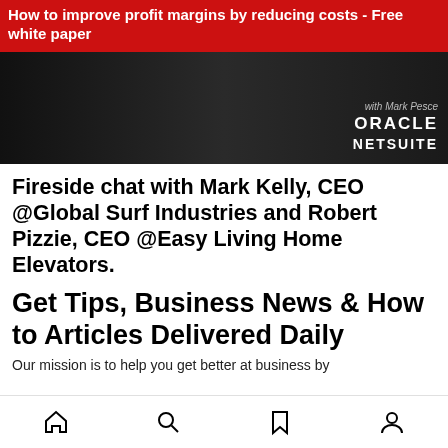How to improve profit margins by reducing costs - Free white paper
[Figure (photo): Dark background image showing Oracle NetSuite branding with text 'with Mark Pesce' and 'ORACLE NETSUITE']
Fireside chat with Mark Kelly, CEO @Global Surf Industries and Robert Pizzie, CEO @Easy Living Home Elevators.
Get Tips, Business News & How to Articles Delivered Daily
Our mission is to help you get better at business by
Home | Search | Bookmark | Profile navigation icons